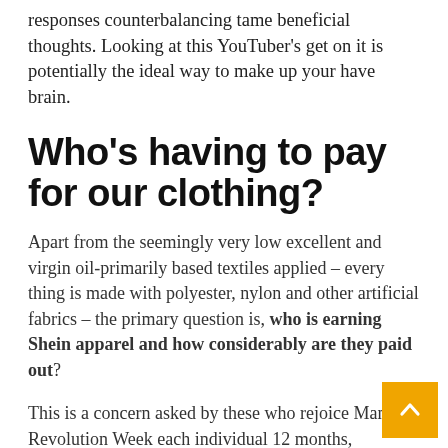responses counterbalancing tame beneficial thoughts. Looking at this YouTuber's get on it is potentially the ideal way to make up your have brain.
Who's having to pay for our clothing?
Apart from the seemingly very low excellent and virgin oil-primarily based textiles applied – every thing is made with polyester, nylon and other artificial fabrics – the primary question is, who is earning Shein apparel and how considerably are they paid out?
This is a concern asked by these who rejoice Manner Revolution Week each individual 12 months, inquiring #whomademyclothes on Twitter